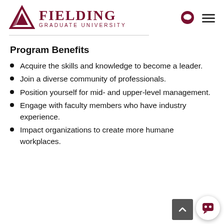[Figure (logo): Fielding Graduate University logo with triangle icon and maroon text]
Program Benefits
Acquire the skills and knowledge to become a leader.
Join a diverse community of professionals.
Position yourself for mid- and upper-level management.
Engage with faculty members who have industry experience.
Impact organizations to create more humane workplaces.